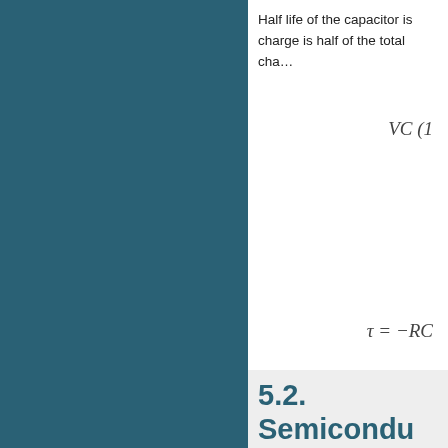Half life of the capacitor is the time at which the charge is half of the total charge.
5.2. Semiconductor Physics
In general, the task is to find
where n (p) is the electron (hole) current density